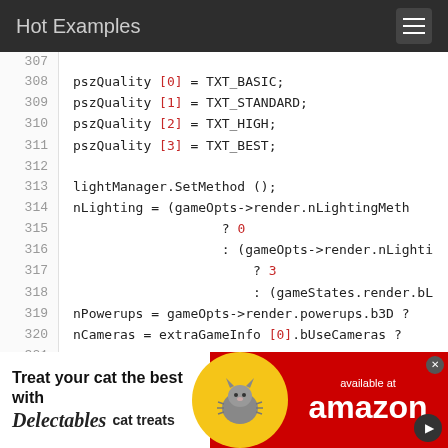Hot Examples
307
308   pszQuality [0] = TXT_BASIC;
309   pszQuality [1] = TXT_STANDARD;
310   pszQuality [2] = TXT_HIGH;
311   pszQuality [3] = TXT_BEST;
312
313   lightManager.SetMethod ();
314   nLighting = (gameOpts->render.nLightingMeth
315                   ? 0
316                   : (gameOpts->render.nLighti
317                       ? 3
318                       : (gameStates.render.bL
319   nPowerups = gameOpts->render.powerups.b3D ?
320   nCameras = extraGameInfo [0].bUseCameras ? 
321
[Figure (infographic): Amazon advertisement banner: Treat your cat the best with Delectables cat treats, available at amazon]